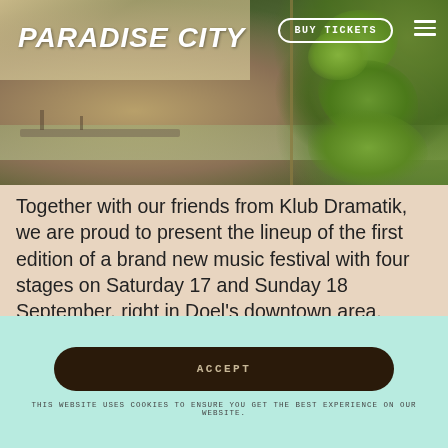[Figure (photo): Hero banner photo of a nature/waterside scene with green leaves and plants in the foreground, water and industrial structures visible in the background. The Paradise City festival logo and 'Buy Tickets' button overlay the image.]
PARADISE CITY
Together with our friends from Klub Dramatik, we are proud to present the lineup of the first edition of a brand new music festival with four stages on Saturday 17 and Sunday 18 September, right in Doel's downtown area. However, do not expect fireworks or extravagant entertainment. Doel Festival will deliberately remain a small-scale festival [...]
ACCEPT
THIS WEBSITE USES COOKIES TO ENSURE YOU GET THE BEST EXPERIENCE ON OUR WEBSITE.